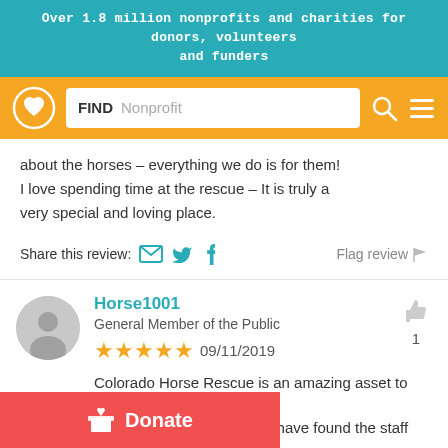Over 1.8 million nonprofits and charities for donors, volunteers and funders
[Figure (screenshot): Navigation bar with GuideStar/Candid logo (heart icon), search box with FIND Nonprofit placeholder, search icon, and hamburger menu icon on orange background]
about the horses – everything we do is for them! I love spending time at the rescue – It is truly a very special and loving place.
Share this review:  [email icon] [twitter icon] [facebook icon]    Flag review [flag icon]
Horse1001
General Member of the Public
★★★★★ 09/11/2019
Colorado Horse Rescue is an amazing asset to the communities of Colorado. I have found the staff
[Figure (other): Donate button (red/coral) with gift box icon and text 'Donate']